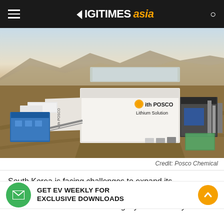DIGITIMES asia
[Figure (photo): Aerial drone photograph of a POSCO Lithium Solution facility in an arid landscape. A large white industrial building with 'with POSCO' logo and 'Lithium Solution' text is visible, along with blue warehouse structures, evaporation ponds in the background, mountains on the horizon, and industrial equipment.]
Credit: Posco Chemical
South Korea is facing challenges to expand its electric vehicle (EV) ... costs of raw materials that are tightly controlled by
GET EV WEEKLY FOR EXCLUSIVE DOWNLOADS